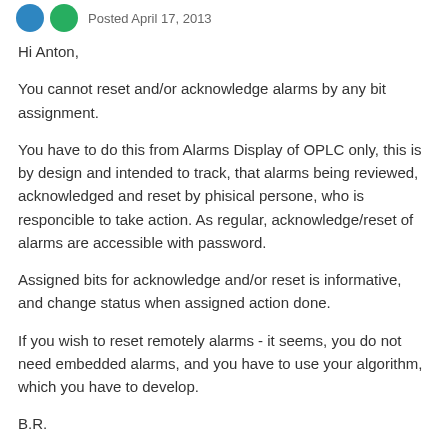Posted April 17, 2013
Hi Anton,
You cannot reset and/or acknowledge alarms by any bit assignment.
You have to do this from Alarms Display of OPLC only, this is by design and intended to track, that alarms being reviewed, acknowledged and reset by phisical persone, who is responcible to take action. As regular, acknowledge/reset of alarms are accessible with password.
Assigned bits for acknowledge and/or reset is informative, and change status when assigned action done.
If you wish to reset remotely alarms - it seems, you do not need embedded alarms, and you have to use your algorithm, which you have to develop.
B.R.
*I cannot tell you nothing about F2 until I will see your project.